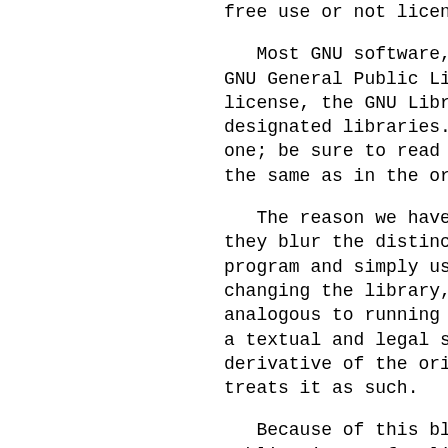free use or not licens
Most GNU software, i GNU General Public Lic license, the GNU Libra designated libraries. one; be sure to read i the same as in the ord
The reason we have a they blur the distinct program and simply usi changing the library, analogous to running a a textual and legal se derivative of the orig treats it as such.
Because of this blur Public License for lib sharing, because most concluded that weaker
However, unrestricted users of those program libraries themselves. permit developers of m preserving your freedo